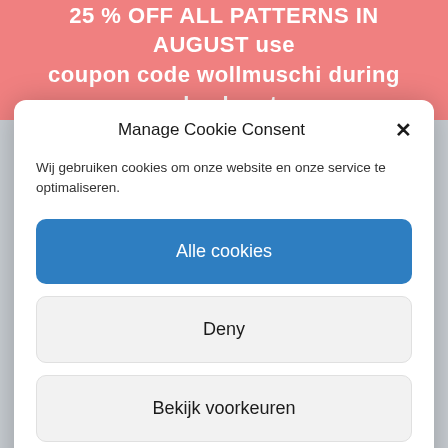25 % OFF ALL PATTERNS IN AUGUST use coupon code wollmuschi during check out
Manage Cookie Consent
Wij gebruiken cookies om onze website en onze service te optimaliseren.
Alle cookies
Deny
Bekijk voorkeuren
Cookie policy  Winkelvoorwaarden